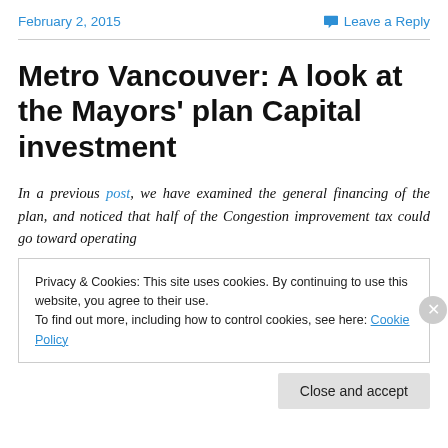February 2, 2015
Leave a Reply
Metro Vancouver: A look at the Mayors' plan Capital investment
In a previous post, we have examined the general financing of the plan, and noticed that half of the Congestion improvement tax could go toward operating
Privacy & Cookies: This site uses cookies. By continuing to use this website, you agree to their use. To find out more, including how to control cookies, see here: Cookie Policy
Close and accept